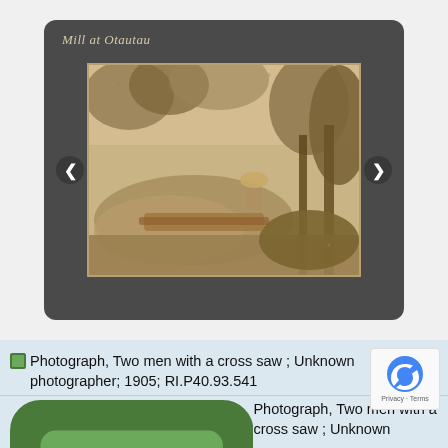[Figure (photo): Scanned historical photograph mounted on a dark card mount. Handwritten text at top reads 'Mill at Otautau'. The photograph shows two men with a cross saw in a bush/forest setting, sepia toned, circa 1905. Navigation arrows visible on left and right sides of mount.]
Photograph, Two men with a cross saw ; Unknown photographer; 1905; RI.P40.93.541
Photograph, Two men with a cross saw ; Unknown